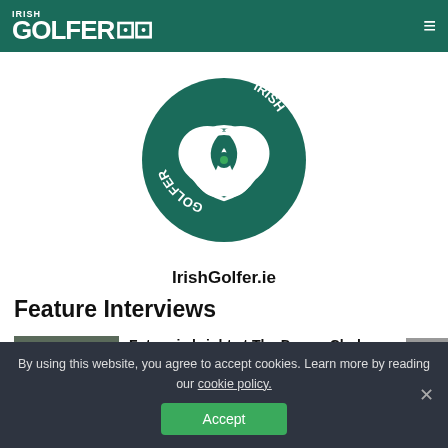IRISH GOLFER
[Figure (logo): Irish Golfer circular logo with infinity/trefoil knot symbol and text IRISH GOLFER around the edge, dark teal color scheme]
IrishGolfer.ie
Feature Interviews
[Figure (photo): Group photo of golfers in dark clothing on a golf course]
Future is bright at The Darren Clarke Foundation
Feature Interviews, Latest News
By using this website, you agree to accept cookies. Learn more by reading our cookie policy.